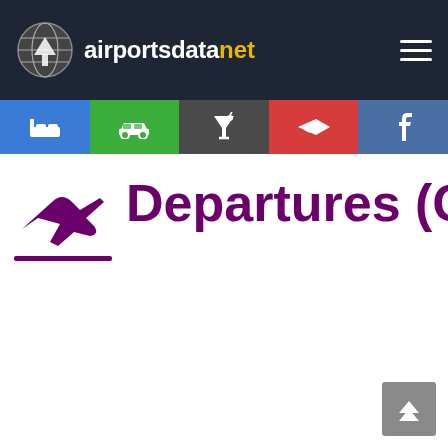airportsdatanet
Departures (GDN)